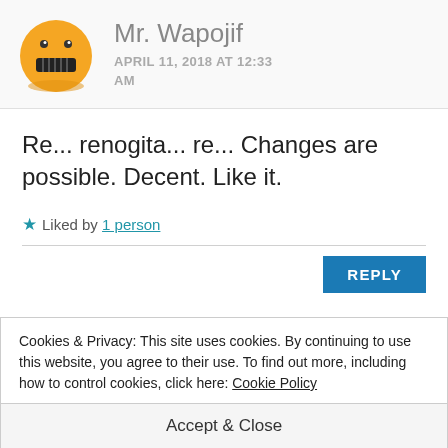[Figure (illustration): Yellow cartoon emoji face avatar with wide eyes and teeth-baring grimace expression]
Mr. Wapojif
APRIL 11, 2018 AT 12:33 AM
Re... renogita... re... Changes are possible. Decent. Like it.
★ Liked by 1 person
REPLY
Cookies & Privacy: This site uses cookies. By continuing to use this website, you agree to their use. To find out more, including how to control cookies, click here: Cookie Policy
Accept & Close